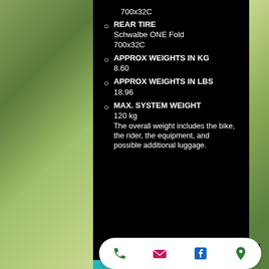700x32C
REAR TIRE
Schwalbe ONE Fold 700x32C
APPROX WEIGHTS IN KG
8.60
APPROX WEIGHTS IN LBS
18.96
MAX. SYSTEM WEIGHT
120 kg
The overall weight includes the bike, the rider, the equipment, and possible additional luggage.
[Figure (screenshot): Bottom navigation bar with phone, email, Facebook, and location icons on white rounded pill background, with social share icons row above on black background]